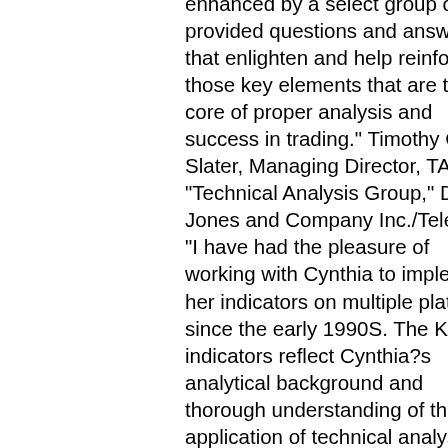enhanced by a select group of provided questions and answers that enlighten and help reinforce those key elements that are the core of proper analysis and success in trading." Timothy C. Slater, Managing Director, TAG "Technical Analysis Group," Dow Jones and Company Inc./Telerate "I have had the pleasure of working with Cynthia to implement her indicators on multiple platforms since the early 1990S. The Kase indicators reflect Cynthia?s analytical background and thorough understanding of the application of technical analysis in financial markets. In this video series with accompanying workbook, Cynthia provides solid mathematical reasoning for market behavior analysis enhanced with advanced tips and techniques to increase the probability of trading success." Ernie Popke, Business Manager, Bloomberg LP "Kase on Technical Analysis is a superb resource for anyone serious about improving their ability to forecast markets and manage risk. Kase?s work brings an uncommon depth of understanding about what actually works in the markets. This instructional material will help analysts improve their value in the marketplace and open their eyes to a modern application of technical analysis for